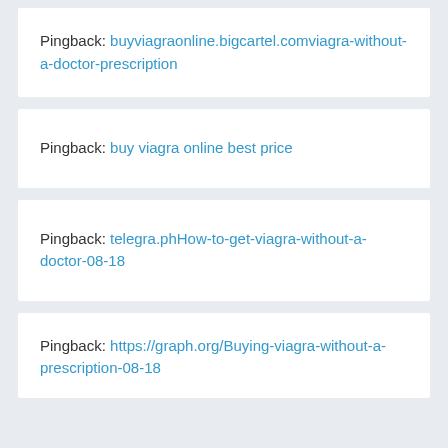Pingback: buyviagraonline.bigcartel.comviagra-without-a-doctor-prescription
Pingback: buy viagra online best price
Pingback: telegra.phHow-to-get-viagra-without-a-doctor-08-18
Pingback: https://graph.org/Buying-viagra-without-a-prescription-08-18